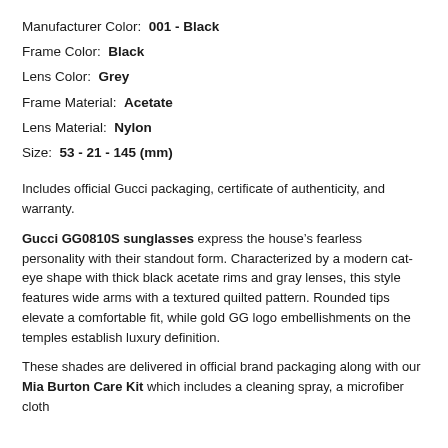Manufacturer Color:  001 - Black
Frame Color:  Black
Lens Color:  Grey
Frame Material:  Acetate
Lens Material:  Nylon
Size:  53 - 21 - 145 (mm)
Includes official Gucci packaging, certificate of authenticity, and warranty.
Gucci GG0810S sunglasses express the house’s fearless personality with their standout form. Characterized by a modern cat-eye shape with thick black acetate rims and gray lenses, this style features wide arms with a textured quilted pattern. Rounded tips elevate a comfortable fit, while gold GG logo embellishments on the temples establish luxury definition.
These shades are delivered in official brand packaging along with our Mia Burton Care Kit which includes a cleaning spray, a microfiber cloth